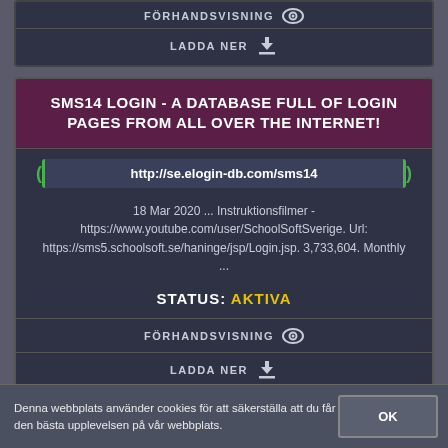FÖRHANDSVISNING
LADDA NER
SMS14 LOGIN - A DATABASE FULL OF LOGIN PAGES FROM ALL OVER THE INTERNET!
http://se.elogin-db.com/sms14
18 Mar 2020 ... Instruktionsfilmer - https://www.youtube.com/user/SchoolSoftSverige. Url: https://sms5.schoolsoft.se/haninge/jsp/Login.jsp. 3,733,604. Monthly ...
STATUS: AKTIVA
FÖRHANDSVISNING
LADDA NER
Denna webbplats använder cookies för att säkerställa att du får den bästa upplevelsen på vår webbplats.